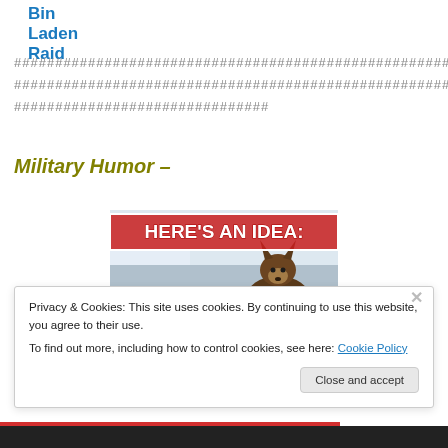Bin Laden Raid
######################################################################################################################################################################################################################################
Military Humor –
[Figure (photo): Meme image showing a dog on an airplane with text 'HERE'S AN IDEA:' in red and white bold letters]
Privacy & Cookies: This site uses cookies. By continuing to use this website, you agree to their use.
To find out more, including how to control cookies, see here: Cookie Policy